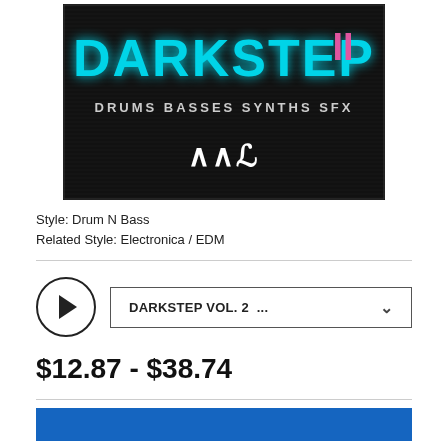[Figure (photo): Album art for Darkstep Vol. 2 — dark background with cyan 'DARKSTEP' text, pink 'II', subtitle 'DRUMS BASSES SYNTHS SFX', and a stylized logo]
Style: Drum N Bass
Related Style: Electronica / EDM
DARKSTEP VOL. 2 ...
$12.87 - $38.74